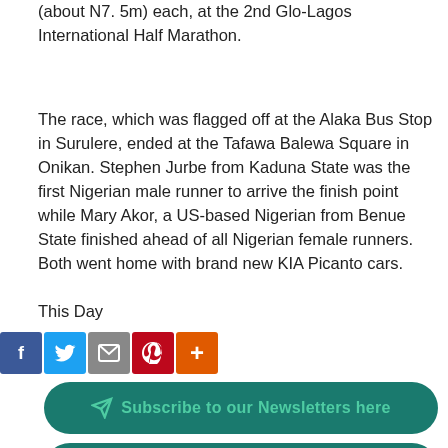(about N7. 5m) each, at the 2nd Glo-Lagos International Half Marathon.
The race, which was flagged off at the Alaka Bus Stop in Surulere, ended at the Tafawa Balewa Square in Onikan. Stephen Jurbe from Kaduna State was the first Nigerian male runner to arrive the finish point while Mary Akor, a US-based Nigerian from Benue State finished ahead of all Nigerian female runners. Both went home with brand new KIA Picanto cars.
This Day
[Figure (infographic): Social share buttons: Facebook (blue), Twitter (blue), Mail/print (grey), Pinterest (red), Plus/share (orange)]
[Figure (infographic): Green rounded button: Subscribe to our Newsletters here with paper plane icon]
[Figure (infographic): Green rounded button: Download Free Reports with document icon]
Research Report Empowering regulators to protect consumer rights